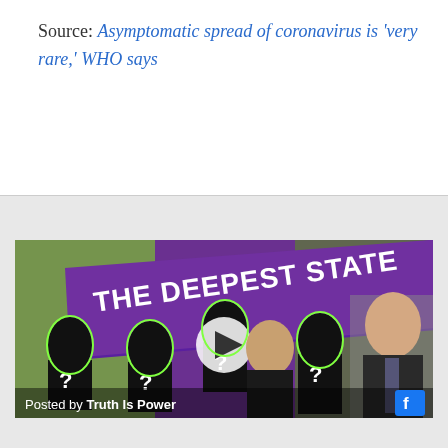Source: Asymptomatic spread of coronavirus is 'very rare,' WHO says
[Figure (screenshot): A Facebook video thumbnail titled 'THE DEEPEST STATE' showing silhouetted figures with question marks and two real people including a man in glasses and an older man in a suit. A play button is visible in the center. Caption reads 'Posted by Truth Is Power' with Facebook icon.]